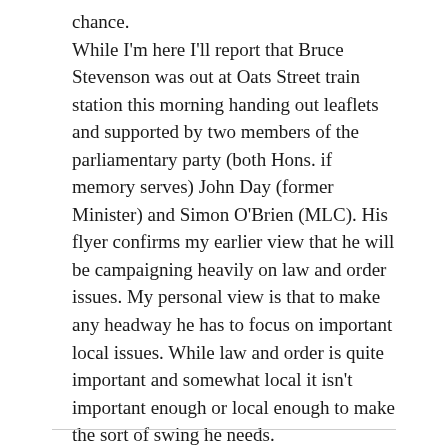chance. While I'm here I'll report that Bruce Stevenson was out at Oats Street train station this morning handing out leaflets and supported by two members of the parliamentary party (both Hons. if memory serves) John Day (former Minister) and Simon O'Brien (MLC). His flyer confirms my earlier view that he will be campaigning heavily on law and order issues. My personal view is that to make any headway he has to focus on important local issues. While law and order is quite important and somewhat local it isn't important enough or local enough to make the sort of swing he needs. Looking forward to more on this issue.